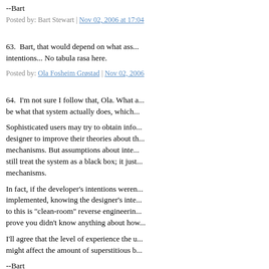--Bart
Posted by: Bart Stewart | Nov 02, 2006 at 17:04
63.  Bart, that would depend on what ass... intentions... No tabula rasa here.
Posted by: Ola Fosheim Grøstad | Nov 02, 2006
64.  I'm not sure I follow that, Ola. What a... be what that system actually does, which...
Sophisticated users may try to obtain info... designer to improve their theories about th... mechanisms. But assumptions about inte... still treat the system as a black box; it just... mechanisms.
In fact, if the developer's intentions weren... implemented, knowing the designer's inte... to this is "clean-room" reverse engineerin... prove you didn't know anything about how...
I'll agree that the level of experience the u... might affect the amount of superstitious b...
--Bart